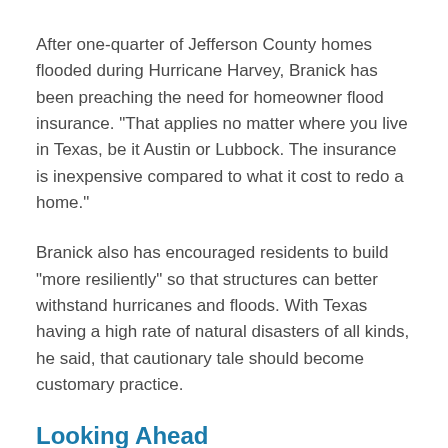After one-quarter of Jefferson County homes flooded during Hurricane Harvey, Branick has been preaching the need for homeowner flood insurance. "That applies no matter where you live in Texas, be it Austin or Lubbock. The insurance is inexpensive compared to what it cost to redo a home."
Branick also has encouraged residents to build "more resiliently" so that structures can better withstand hurricanes and floods. With Texas having a high rate of natural disasters of all kinds, he said, that cautionary tale should become customary practice.
Looking Ahead